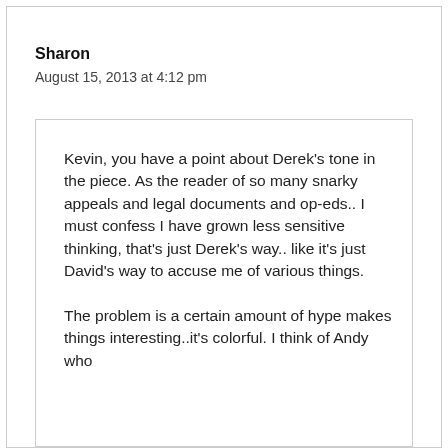Sharon
August 15, 2013 at 4:12 pm
Kevin, you have a point about Derek's tone in the piece. As the reader of so many snarky appeals and legal documents and op-eds.. I must confess I have grown less sensitive thinking, that's just Derek's way.. like it's just David's way to accuse me of various things.
The problem is a certain amount of hype makes things interesting..it's colorful. I think of Andy who